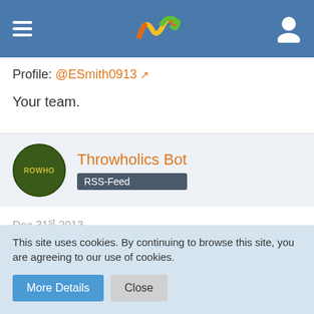[Figure (logo): Navigation header bar with hamburger menu, Wuala/wave logo in center, and user profile icon on right, on blue background]
Profile: @ESmith0913 ↗
Your team.
[Figure (other): Bot profile card with green circular avatar showing 'THROWHO', orange name 'Throwholics Bot', and dark grey 'RSS-Feed' badge, on light blue-grey background]
Dec 31st 2013
Hi PaddyHammer,
we wish you a lot of fun in the largest, yet most close-knit and
This site uses cookies. By continuing to browse this site, you are agreeing to our use of cookies.